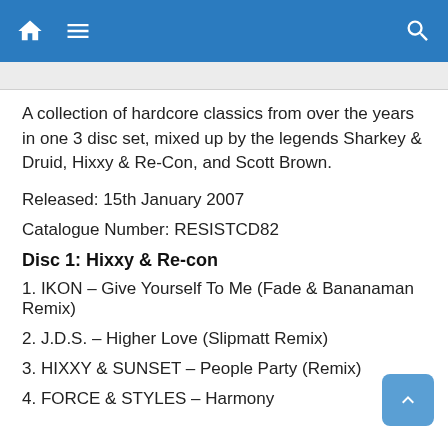Navigation bar with home, menu, and search icons
A collection of hardcore classics from over the years in one 3 disc set, mixed up by the legends Sharkey & Druid, Hixxy & Re-Con, and Scott Brown.
Released: 15th January 2007
Catalogue Number: RESISTCD82
Disc 1: Hixxy & Re-con
1. IKON – Give Yourself To Me (Fade & Bananaman Remix)
2. J.D.S. – Higher Love (Slipmatt Remix)
3. HIXXY & SUNSET – People Party (Remix)
4. FORCE & STYLES – Harmony